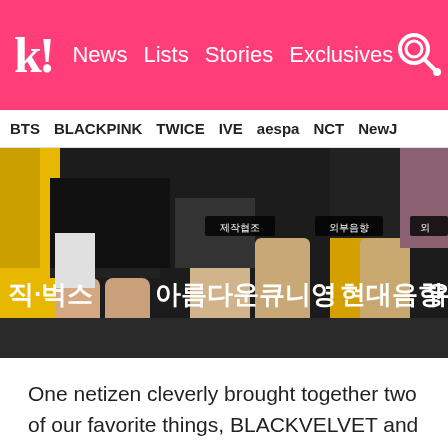k! News Lists Stories Exclusives
BTS BLACKPINK TWICE IVE aespa NCT NewJ
[Figure (photo): Screenshot from a Korean TV show showing performers' legs on stage with Korean text overlay credits: 제작협조 아름다운큐니영 외부음향 현대음향, 직·벅스, 유]
One netizen cleverly brought together two of our favorite things, BLACKVELVET and the heist comedy “Ocean’s 8”.
[Figure (photo): Bottom portion of another image, dark/black background, partially visible]